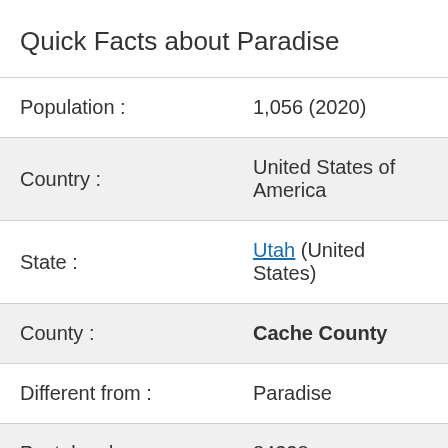Quick Facts about Paradise
| Population : | 1,056 (2020) |
| Country : | United States of America |
| State : | Utah (United States) |
| County : | Cache County |
| Different from : | Paradise |
| Postal code : | 84328 |